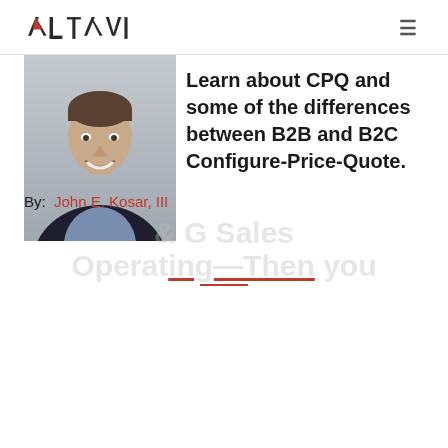ALTAVI
[Figure (photo): Headshot of a smiling man in a dark blazer and blue checkered shirt, against a light grey background.]
Learn about CPQ and some of the differences between B2B and B2C Configure-Price-Quote.
By:  John E. Kosar, III